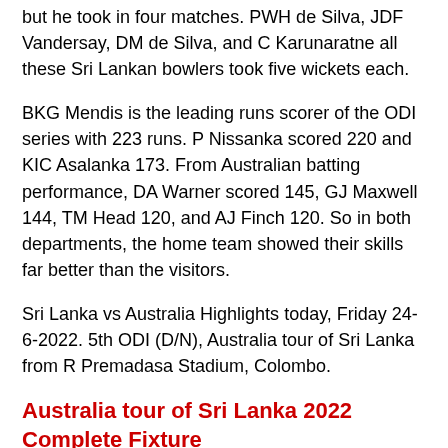but he took in four matches. PWH de Silva, JDF Vandersay, DM de Silva, and C Karunaratne all these Sri Lankan bowlers took five wickets each.
BKG Mendis is the leading runs scorer of the ODI series with 223 runs. P Nissanka scored 220 and KIC Asalanka 173. From Australian batting performance, DA Warner scored 145, GJ Maxwell 144, TM Head 120, and AJ Finch 120. So in both departments, the home team showed their skills far better than the visitors.
Sri Lanka vs Australia Highlights today, Friday 24-6-2022. 5th ODI (D/N), Australia tour of Sri Lanka from R Premadasa Stadium, Colombo.
Australia tour of Sri Lanka 2022 Complete Fixture
Form guide